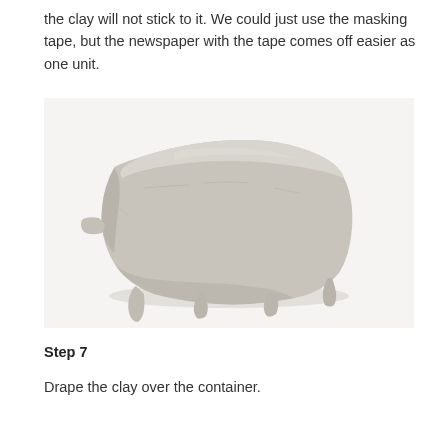the clay will not stick to it. We could just use the masking tape, but the newspaper with the tape comes off easier as one unit.
[Figure (photo): A clay sculpture shaped like a small animal or creature with four stubby legs, viewed from the side/back, sitting on a white surface. The clay is grey/white and unfired.]
Step 7
Drape the clay over the container.